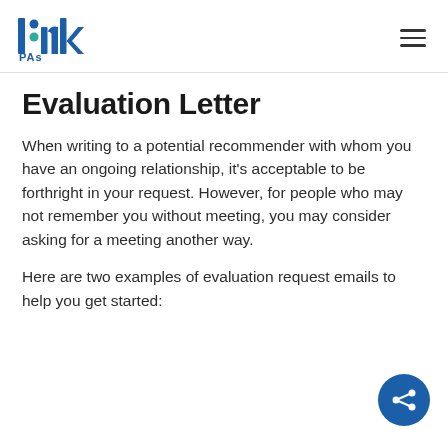link PAs
Evaluation Letter
When writing to a potential recommender with whom you have an ongoing relationship, it's acceptable to be forthright in your request. However, for people who may not remember you without meeting, you may consider asking for a meeting another way.
Here are two examples of evaluation request emails to help you get started: